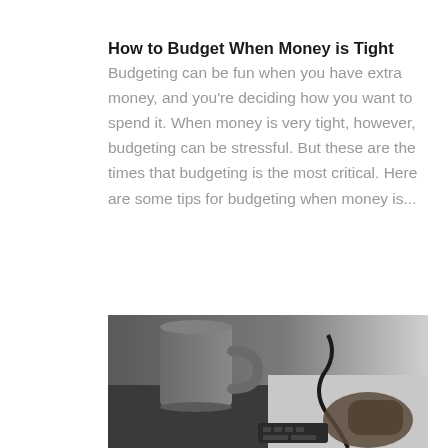How to Budget When Money is Tight
Budgeting can be fun when you have extra money, and you're deciding how you want to spend it. When money is very tight, however, budgeting can be stressful. But these are the times that budgeting is the most critical. Here are some tips for budgeting when money is...
[Figure (photo): Black and white photo showing a coffee mug on a desk with a person's hand using a computer mouse and a cable visible]